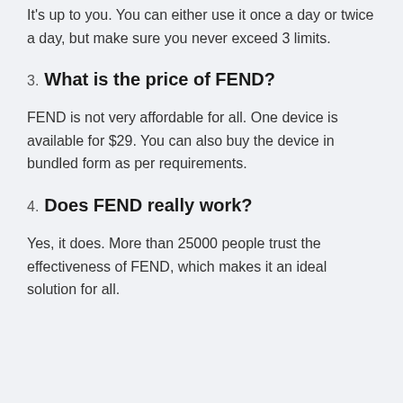It's up to you. You can either use it once a day or twice a day, but make sure you never exceed 3 limits.
3. What is the price of FEND?
FEND is not very affordable for all. One device is available for $29. You can also buy the device in bundled form as per requirements.
4. Does FEND really work?
Yes, it does. More than 25000 people trust the effectiveness of FEND, which makes it an ideal solution for all.